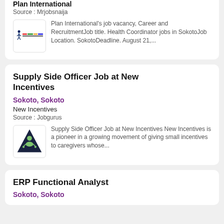Plan International
Source : Mrjobsnaija
[Figure (logo): Plan International logo with a stylized person figure and colorful text]
Plan International's job vacancy, Career and RecruitmentJob title. Health Coordinator jobs in SokotoJob Location. SokotoDeadline. August 21,...
Supply Side Officer Job at New Incentives
Sokoto, Sokoto
New Incentives
Source : Jobgurus
[Figure (logo): New Incentives logo: dark navy triangle with a green meditating figure inside]
Supply Side Officer Job at New Incentives New Incentives is a pioneer in a growing movement of giving small incentives to caregivers whose...
ERP Functional Analyst
Sokoto, Sokoto